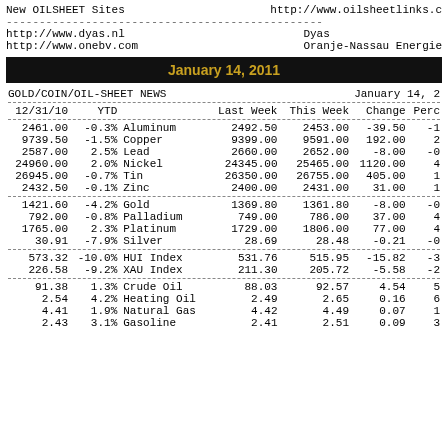New OILSHEET Sites    http://www.oilsheetlinks.c
http://www.dyas.nl    Dyas
http://www.onebv.com    Oranje-Nassau Energie
January 14, 2011
| 12/31/10 | YTD |  | Last Week | This Week | Change | Perc |
| --- | --- | --- | --- | --- | --- | --- |
| 2461.00 | -0.3% | Aluminum | 2492.50 | 2453.00 | -39.50 | -1 |
| 9739.50 | -1.5% | Copper | 9399.00 | 9591.00 | 192.00 | 2 |
| 2587.00 | 2.5% | Lead | 2660.00 | 2652.00 | -8.00 | -0 |
| 24960.00 | 2.0% | Nickel | 24345.00 | 25465.00 | 1120.00 | 4 |
| 26945.00 | -0.7% | Tin | 26350.00 | 26755.00 | 405.00 | 1 |
| 2432.50 | -0.1% | Zinc | 2400.00 | 2431.00 | 31.00 | 1 |
| 1421.60 | -4.2% | Gold | 1369.80 | 1361.80 | -8.00 | -0 |
| 792.00 | -0.8% | Palladium | 749.00 | 786.00 | 37.00 | 4 |
| 1765.00 | 2.3% | Platinum | 1729.00 | 1806.00 | 77.00 | 4 |
| 30.91 | -7.9% | Silver | 28.69 | 28.48 | -0.21 | -0 |
| 573.32 | -10.0% | HUI Index | 531.76 | 515.95 | -15.82 | -3 |
| 226.58 | -9.2% | XAU Index | 211.30 | 205.72 | -5.58 | -2 |
| 91.38 | 1.3% | Crude Oil | 88.03 | 92.57 | 4.54 | 5 |
| 2.54 | 4.2% | Heating Oil | 2.49 | 2.65 | 0.16 | 6 |
| 4.41 | 1.9% | Natural Gas | 4.42 | 4.49 | 0.07 | 1 |
| 2.43 | 3.1% | Gasoline | 2.41 | 2.51 | 0.09 | 3 |